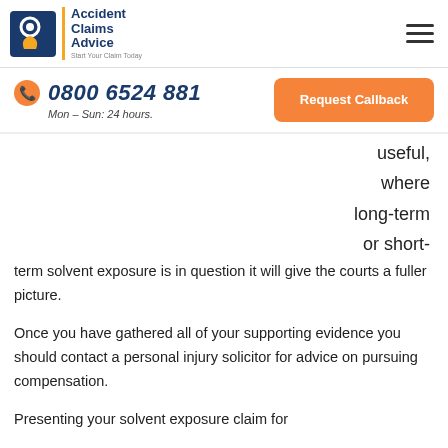[Figure (logo): Accident Claims Advice logo with phone icon and tagline 'Start Your Claim Today']
0800 6524 881 | Mon – Sun: 24 hours. | Request Callback
useful, where long-term or short-term solvent exposure is in question it will give the courts a fuller picture.
Once you have gathered all of your supporting evidence you should contact a personal injury solicitor for advice on pursuing compensation.
Presenting your solvent exposure claim for